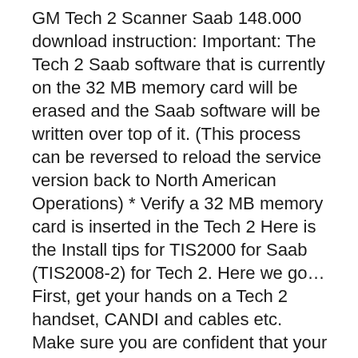GM Tech 2 Scanner Saab 148.000 download instruction: Important: The Tech 2 Saab software that is currently on the 32 MB memory card will be erased and the Saab software will be written over top of it. (This process can be reversed to reload the service version back to North American Operations) * Verify a 32 MB memory card is inserted in the Tech 2 Here is the Install tips for TIS2000 for Saab (TIS2008-2) for Tech 2. Here we go… First, get your hands on a Tech 2 handset, CANDI and cables etc. Make sure you are confident that your serial connections are good. 1. You will need a TIS2000 USB key and patch for activation (can be bought for little money or sourced elsewhere) 2. GM Tech 2 scanner with case packing, working GM systems 1992 to 2014.
Industrial laser cutter